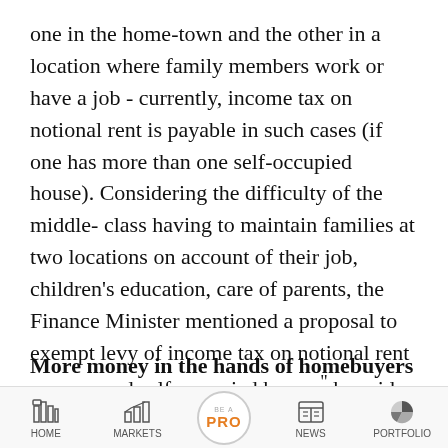one in the home-town and the other in a location where family members work or have a job - currently, income tax on notional rent is payable in such cases (if one has more than one self-occupied house). Considering the difficulty of the middle- class having to maintain families at two locations on account of their job, children's education, care of parents, the Finance Minister mentioned a proposal to exempt levy of income tax on notional rent on a second self-occupied house," he said.
More money in the hands of homebuyers
[Figure (screenshot): App promotion banner showing two news cards: 'Deconstructing Budget 2019: What's in it for...' on dark blue background with thumbnail, and 'Fuel prices on August 21: Check petrol, diesel...' with green thumbnail. Below is a mobile navigation bar with HOME, MARKETS, BE A PRO, NEWS, PORTFOLIO icons.]